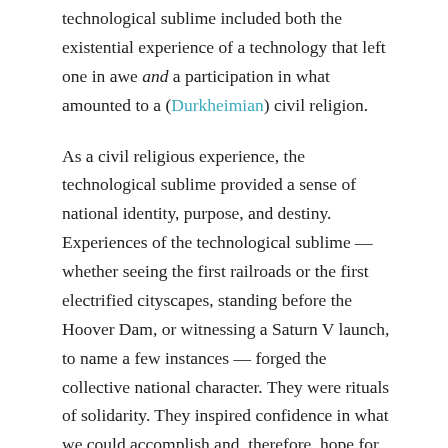technological sublime included both the existential experience of a technology that left one in awe and a participation in what amounted to a (Durkheimian) civil religion.
As a civil religious experience, the technological sublime provided a sense of national identity, purpose, and destiny. Experiences of the technological sublime — whether seeing the first railroads or the first electrified cityscapes, standing before the Hoover Dam, or witnessing a Saturn V launch, to name a few instances — forged the collective national character. They were rituals of solidarity. They inspired confidence in what we could accomplish and, therefore, hope for the future.
It could be argued that we are a nation casting about for renewed unity and sense of purpose. There is a felt need for